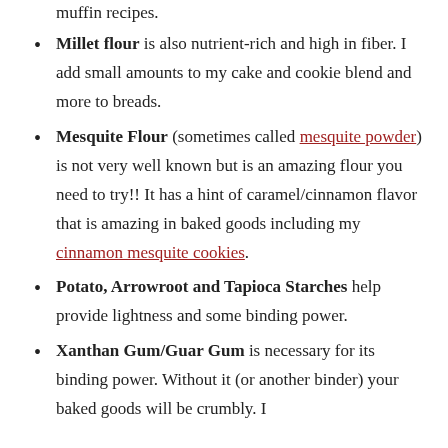muffin recipes.
Millet flour is also nutrient-rich and high in fiber. I add small amounts to my cake and cookie blend and more to breads.
Mesquite Flour (sometimes called mesquite powder) is not very well known but is an amazing flour you need to try!! It has a hint of caramel/cinnamon flavor that is amazing in baked goods including my cinnamon mesquite cookies.
Potato, Arrowroot and Tapioca Starches help provide lightness and some binding power.
Xanthan Gum/Guar Gum is necessary for its binding power. Without it (or another binder) your baked goods will be crumbly. I